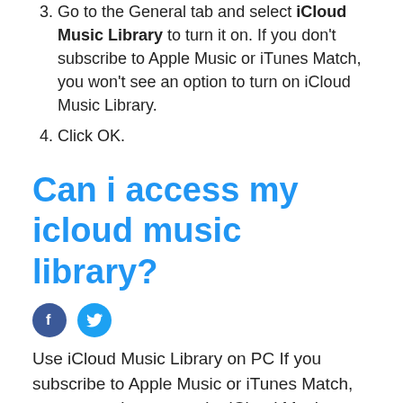3. Go to the General tab and select iCloud Music Library to turn it on. If you don't subscribe to Apple Music or iTunes Match, you won't see an option to turn on iCloud Music Library.
4. Click OK.
Can i access my icloud music library?
[Figure (illustration): Facebook and Twitter social share icons]
Use iCloud Music Library on PC If you subscribe to Apple Music or iTunes Match, you can make your entire iCloud Music Library available on all your devices when you're signed in with the same Apple ID. You can access your library any time, whenever